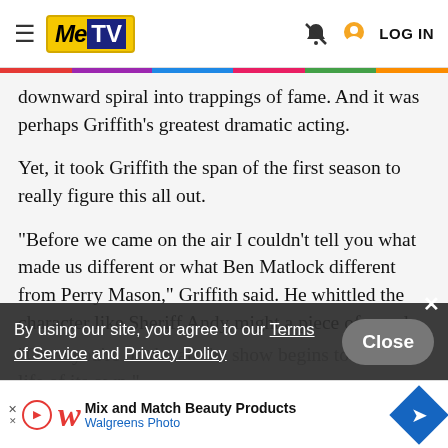MeTV | LOG IN
downward spiral into trappings of fame. And it was perhaps Griffith's greatest dramatic acting.
Yet, it took Griffith the span of the first season to really figure this all out.
"Before we came on the air I couldn't tell you what made us different or what Ben Matlock different from Perry Mason," Griffith said. He whittled the character like Sheriff Andy might a piece of wood.
"Once you're on the air the show begins to take on a life of its own."
Griffith preferred that patient approach. It had worked for The Andy Griffith Show.
By using our site, you agree to our Terms of Service and Privacy Policy
Close
[Figure (screenshot): Walgreens Photo advertisement banner: Mix and Match Beauty Products]